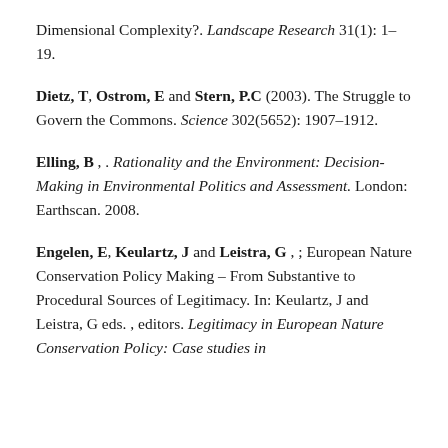Dimensional Complexity?. Landscape Research 31(1): 1–19.
Dietz, T, Ostrom, E and Stern, P.C (2003). The Struggle to Govern the Commons. Science 302(5652): 1907–1912.
Elling, B , . Rationality and the Environment: Decision-Making in Environmental Politics and Assessment. London: Earthscan. 2008.
Engelen, E, Keulartz, J and Leistra, G , ; European Nature Conservation Policy Making – From Substantive to Procedural Sources of Legitimacy. In: Keulartz, J and Leistra, G eds. , editors. Legitimacy in European Nature Conservation Policy: Case studies in